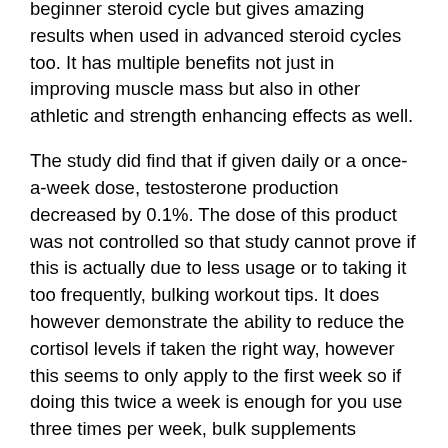beginner steroid cycle but gives amazing results when used in advanced steroid cycles too. It has multiple benefits not just in improving muscle mass but also in other athletic and strength enhancing effects as well.
The study did find that if given daily or a once-a-week dose, testosterone production decreased by 0.1%. The dose of this product was not controlled so that study cannot prove if this is actually due to less usage or to taking it too frequently, bulking workout tips. It does however demonstrate the ability to reduce the cortisol levels if taken the right way, however this seems to only apply to the first week so if doing this twice a week is enough for you use three times per week, bulk supplements ascorbic acid.
I recently had a conversation with my steroid prescription doctor. It started off as I had to